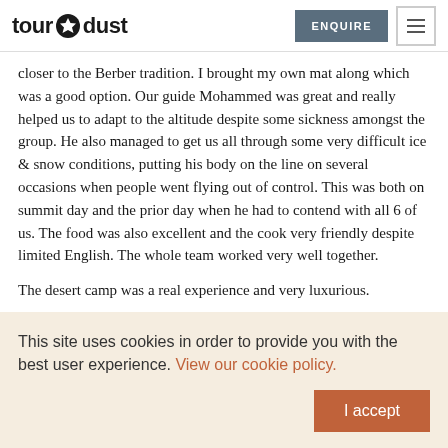tourdust | ENQUIRE [menu]
closer to the Berber tradition. I brought my own mat along which was a good option. Our guide Mohammed was great and really helped us to adapt to the altitude despite some sickness amongst the group. He also managed to get us all through some very difficult ice & snow conditions, putting his body on the line on several occasions when people went flying out of control. This was both on summit day and the prior day when he had to contend with all 6 of us. The food was also excellent and the cook very friendly despite limited English. The whole team worked very well together.
The desert camp was a real experience and very luxurious.
This site uses cookies in order to provide you with the best user experience. View our cookie policy.
I accept